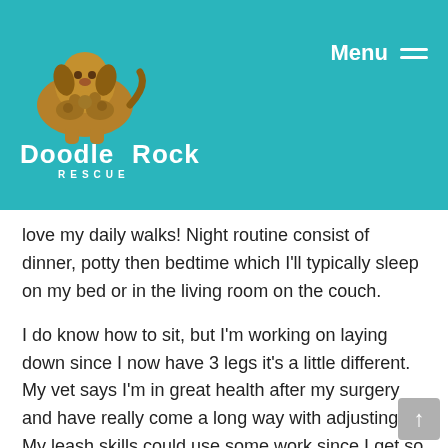[Figure (logo): Doodle Rock Rescue logo with illustrated dog and teal background, with Menu hamburger icon in top right]
love my daily walks! Night routine consist of dinner, potty then bedtime which I'll typically sleep on my bed or in the living room on the couch.
I do know how to sit, but I'm working on laying down since I now have 3 legs it's a little different. My vet says I'm in great health after my surgery and have really come a long way with adjusting. My leash skills could use some work since I get so excited as well as  basic manners. I'm potty trained but could really benefit from a schedule.  I bark at things that get me excited like doorbells, strangers and other dogs across the street. I don't use my crate much, but can stay in there for short periods of time though I prefer not to use it. I've never been around kids, but when I go out for walks or in public I